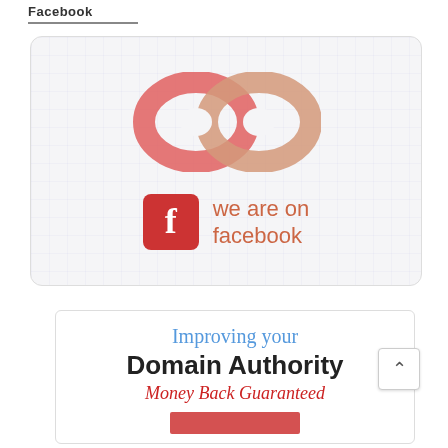Facebook
[Figure (logo): Infinity loop logo in coral/salmon and peach colors above a Facebook badge with red square 'f' icon and text 'we are on facebook' in orange-brown color, on a light gray grid background with rounded corners]
[Figure (infographic): White banner with text 'Improving your Domain Authority Money Back Guaranteed' and a partial red button visible at the bottom. Blue italic heading, bold black subheading, and red italic italic tagline.]